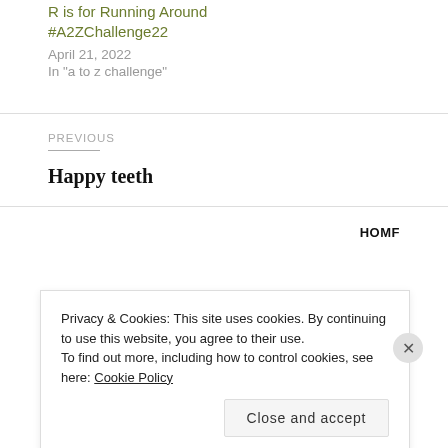R is for Running Around #A2ZChallenge22
April 21, 2022
In "a to z challenge"
PREVIOUS
Happy teeth
Privacy & Cookies: This site uses cookies. By continuing to use this website, you agree to their use.
To find out more, including how to control cookies, see here: Cookie Policy
Close and accept